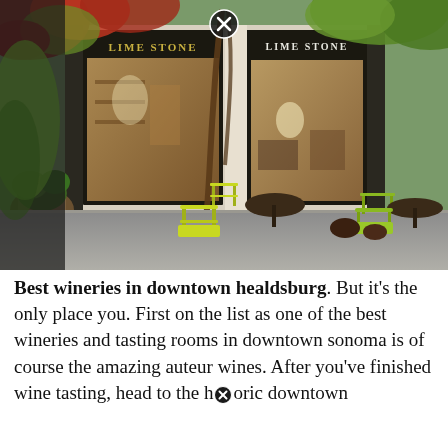[Figure (photo): Exterior storefront of 'Lime Stone' shop with large dark-framed windows, yellow-green outdoor cafe chairs and tables on the sidewalk, vines with red and green leaves covering the building facade, and warm interior lighting visible through the windows. A circular X/close button appears at the top center of the image.]
Best wineries in downtown healdsburg. But it's the only place you. First on the list as one of the best wineries and tasting rooms in downtown sonoma is of course the amazing auteur wines. After you've finished wine tasting, head to the historic downtown